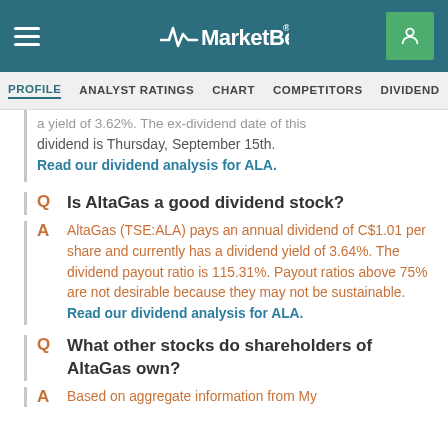MarketBeat
PROFILE   ANALYST RATINGS   CHART   COMPETITORS   DIVIDEND   EARNINGS
a yield of 3.62%. The ex-dividend date of this dividend is Thursday, September 15th. Read our dividend analysis for ALA.
Q   Is AltaGas a good dividend stock?
AltaGas (TSE:ALA) pays an annual dividend of C$1.01 per share and currently has a dividend yield of 3.64%. The dividend payout ratio is 115.31%. Payout ratios above 75% are not desirable because they may not be sustainable. Read our dividend analysis for ALA.
Q   What other stocks do shareholders of AltaGas own?
A   Based on aggregate information from My